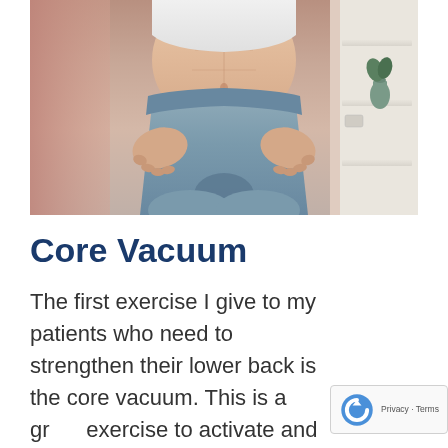[Figure (photo): Close-up photo of a person's torso wearing a white crop top and light blue/grey yoga pants, with hands placed on hips/thighs, demonstrating a core exercise posture. Background shows a room with pink curtains and white shelving.]
Core Vacuum
The first exercise I give to my patients who need to strengthen their lower back is the core vacuum. This is a great exercise to activate and strengthen